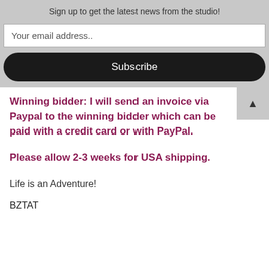Sign up to get the latest news from the studio!
Your email address..
Subscribe
Winning bidder: I will send an invoice via Paypal to the winning bidder which can be paid with a credit card or with PayPal.

Please allow 2-3 weeks for USA shipping.
Life is an Adventure!
BZTAT